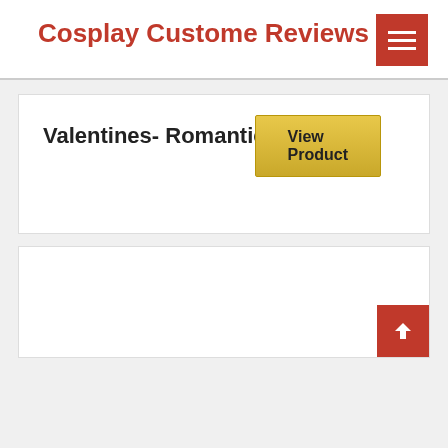Cosplay Custome Reviews
Valentines- Romantic cards
View Product
[Figure (screenshot): Empty product card with back-to-top red button]